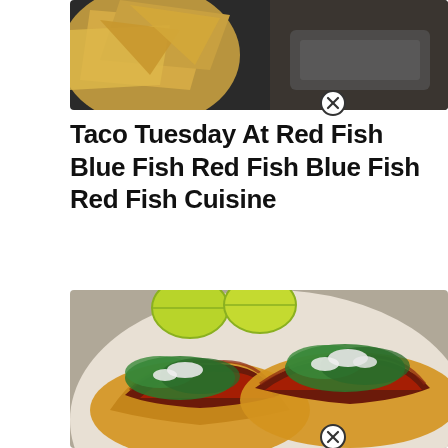[Figure (photo): Top partial image showing tortilla chips and what appears to be a food dish, with a close/dismiss button overlay]
Taco Tuesday At Red Fish Blue Fish Red Fish Blue Fish Red Fish Cuisine
[Figure (photo): Close-up photo of tacos on corn tortillas topped with grilled meat, chopped cilantro, diced onion, and lime wedges on a plate, with a close/dismiss button overlay]